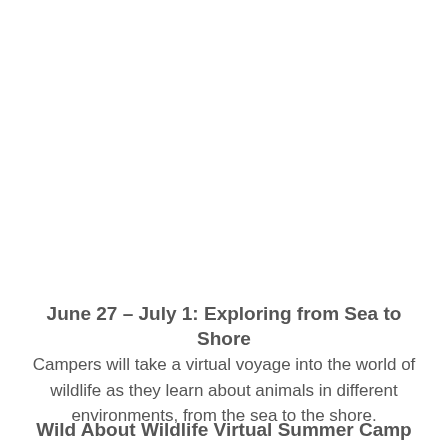June 27 – July 1: Exploring from Sea to Shore
Campers will take a virtual voyage into the world of wildlife as they learn about animals in different environments, from the sea to the shore.
Wild About Wildlife Virtual Summer Camp